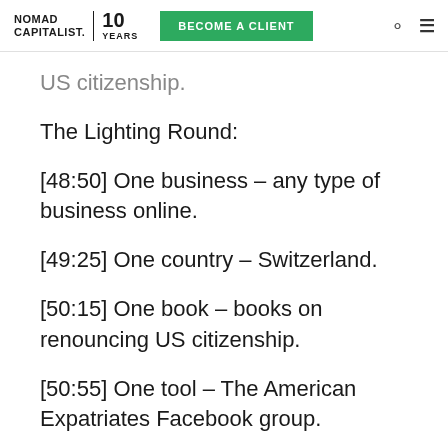NOMAD CAPITALIST. 10 YEARS | BECOME A CLIENT
US citizenship.
The Lighting Round:
[48:50] One business – any type of business online.
[49:25] One country – Switzerland.
[50:15] One book – books on renouncing US citizenship.
[50:55] One tool – The American Expatriates Facebook group.